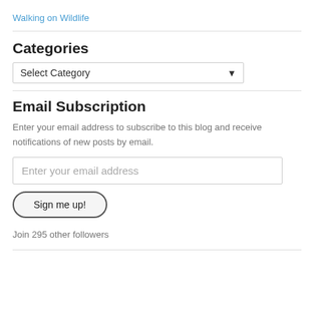Walking on Wildlife
Categories
Select Category
Email Subscription
Enter your email address to subscribe to this blog and receive notifications of new posts by email.
Enter your email address
Sign me up!
Join 295 other followers